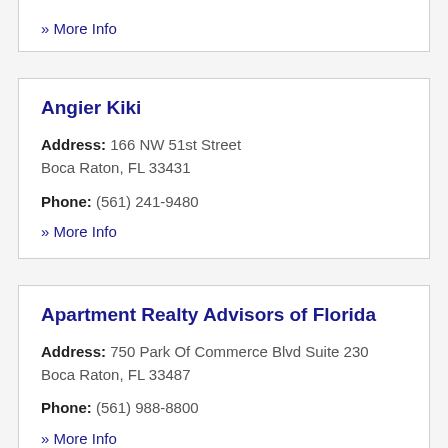» More Info
Angier Kiki
Address: 166 NW 51st Street
Boca Raton, FL 33431
Phone: (561) 241-9480
» More Info
Apartment Realty Advisors of Florida
Address: 750 Park Of Commerce Blvd Suite 230
Boca Raton, FL 33487
Phone: (561) 988-8800
» More Info